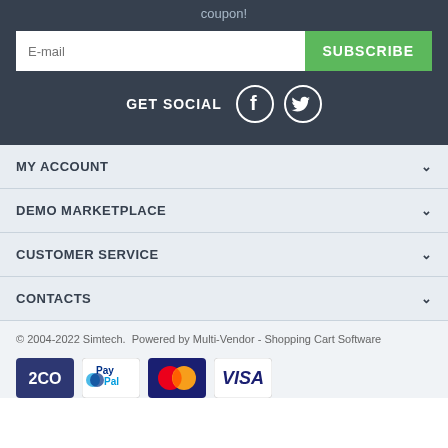coupon!
E-mail
SUBSCRIBE
GET SOCIAL
MY ACCOUNT
DEMO MARKETPLACE
CUSTOMER SERVICE
CONTACTS
© 2004-2022 Simtech.  Powered by Multi-Vendor - Shopping Cart Software
[Figure (logo): Payment icons: 2CO, PayPal, MasterCard, VISA]